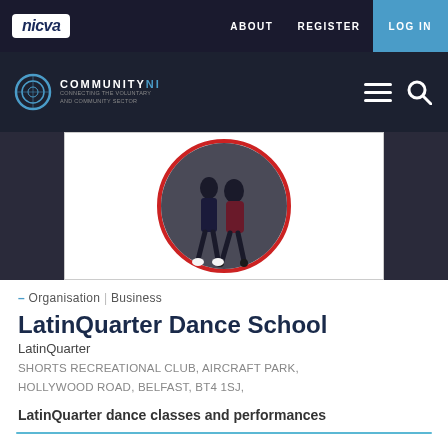nicva   ABOUT  REGISTER  LOG IN
[Figure (screenshot): CommunityNI logo on dark banner with hamburger menu and search icons]
[Figure (illustration): Latin dance couple silhouette inside a red circle logo on white background]
– Organisation | Business
LatinQuarter Dance School
LatinQuarter
SHORTS RECREATIONAL CLUB, AIRCRAFT PARK, HOLLYWOOD ROAD, BELFAST, BT4 1SJ,
LatinQuarter dance classes and performances